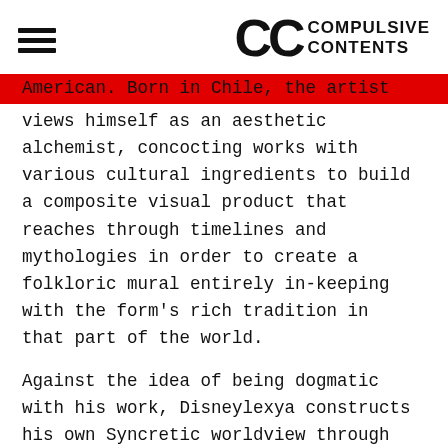CC COMPULSIVE CONTENTS
American. Born in Chile, the artist views himself as an aesthetic alchemist, concocting works with various cultural ingredients to build a composite visual product that reaches through timelines and mythologies in order to create a folkloric mural entirely in-keeping with the form's rich tradition in that part of the world.
Against the idea of being dogmatic with his work, Disneylexya constructs his own Syncretic worldview through his art, telling a personal story in universal terms. Memory is a key part